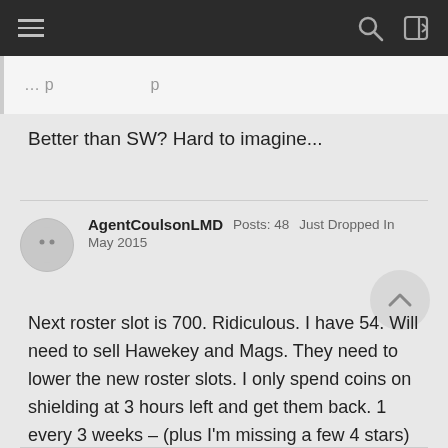Navigation bar with menu, search, and login icons
Better than SW? Hard to imagine...
AgentCoulsonLMD  Posts: 48  Just Dropped In  May 2015
Next roster slot is 700. Ridiculous. I have 54. Will need to sell Hawekey and Mags. They need to lower the new roster slots. I only spend coins on shielding at 3 hours left and get them back. 1 every 3 weeks – (plus I'm missing a few 4 stars) it's just too much. Been playing a year – and you need to make it affordable so we can keep playing.